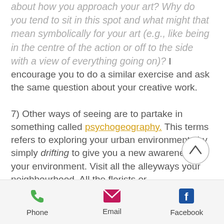about how you approach your art? Why do you tend to sit in this spot and what might that mean symbolically for your art (e.g., like being in the centre of the action or off to the side with a view of everything going on)? I encourage you to do a similar exercise and ask the same question about your creative work.
7) Other ways of seeing are to partake in something called psychogeography. This terms refers to exploring your urban environments by simply drifting to give you a new awareness of your environment. Visit all the alleyways your neighbourhood. All the florists or
[Figure (other): Circular scroll-to-top button with upward chevron arrow]
Phone   Email   Facebook